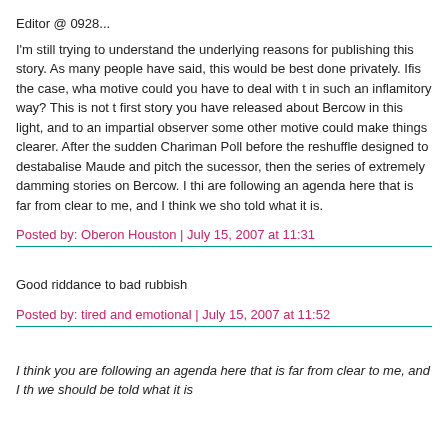Editor @ 0928...
I'm still trying to understand the underlying reasons for publishing this story. As many people have said, this would be best done privately. Ifis the case, what motive could you have to deal with t in such an inflamitory way? This is not the first story you have released about Bercow in this light, and to an impartial observer some other motive could make things clearer. After the sudden Chariman Poll before the reshuffle designed to destabalise Maude and pitch the sucessor, then the series of extremely damming stories on Bercow. I think you are following an agenda here that is far from clear to me, and I think we sho told what it is.
Posted by: Oberon Houston | July 15, 2007 at 11:31
Good riddance to bad rubbish
Posted by: tired and emotional | July 15, 2007 at 11:52
I think you are following an agenda here that is far from clear to me, and I th we should be told what it is